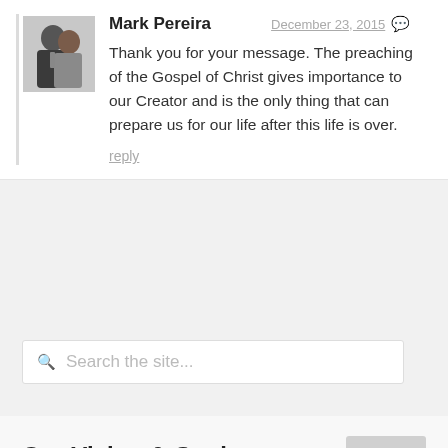[Figure (photo): Avatar photo of two people (a man and woman) in formal attire]
Mark Pereira
December 23, 2015
Thank you for your message. The preaching of the Gospel of Christ gives importance to our Creator and is the only thing that can prepare us for our life after this life is over.
reply
Search the site...
Our Vision & Goals